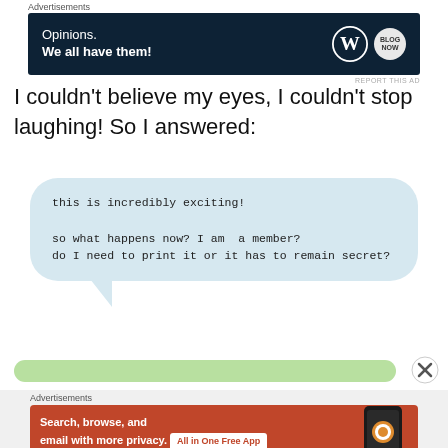[Figure (other): Advertisement banner: 'Opinions. We all have them!' with WordPress and blog logo on dark navy background]
I couldn't believe my eyes, I couldn't stop laughing! So I answered:
[Figure (other): Chat speech bubble (light blue) with text: 'this is incredibly exciting! so what happens now? I am a member? do I need to print it or it has to remain secret?']
[Figure (other): Green rounded bar at bottom, partially visible reply input area]
[Figure (other): Advertisement banner: 'Search, browse, and email with more privacy. All in One Free App' DuckDuckGo ad on orange background]